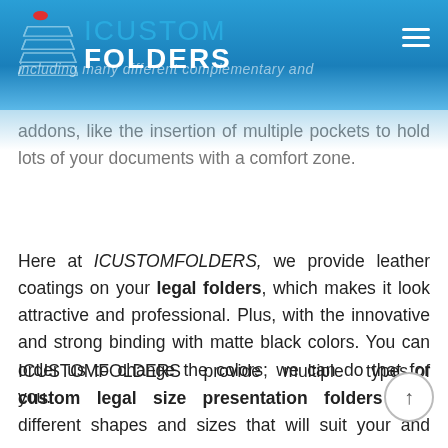[Figure (logo): ICustomFolders logo with stacked layers icon on blue gradient header background]
addons, like the insertion of multiple pockets to hold lots of your documents with a comfort zone.
Here at ICUSTOMFOLDERS, we provide leather coatings on your legal folders, which makes it look attractive and professional. Plus, with the innovative and strong binding with matte black colors. You can order us to change the colors; we can do that for you.
ICUSTOMFOLDERS provide multiple types of custom legal size presentation folders with different shapes and sizes that will suit your and more.